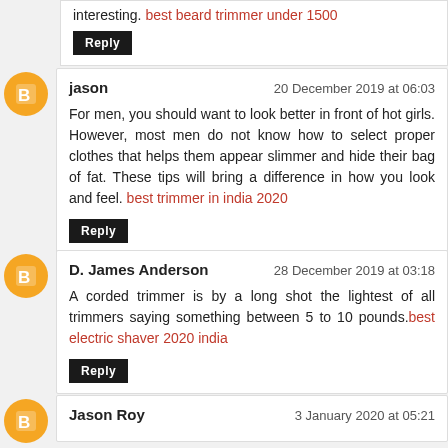interesting. best beard trimmer under 1500
Reply
jason
For men, you should want to look better in front of hot girls. However, most men do not know how to select proper clothes that helps them appear slimmer and hide their bag of fat. These tips will bring a difference in how you look and feel. best trimmer in india 2020
Reply
D. James Anderson
A corded trimmer is by a long shot the lightest of all trimmers saying something between 5 to 10 pounds. best electric shaver 2020 india
Reply
Jason Roy